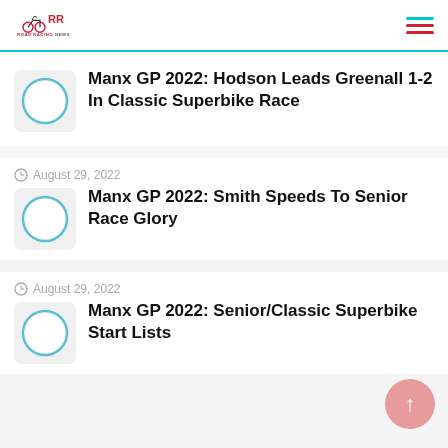Road Racing News
Manx GP 2022: Hodson Leads Greenall 1-2 In Classic Superbike Race
August 29, 2022 — Manx GP 2022: Smith Speeds To Senior Race Glory
August 29, 2022 — Manx GP 2022: Senior/Classic Superbike Start Lists